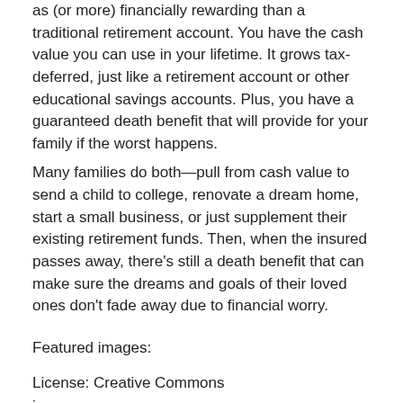as (or more) financially rewarding than a traditional retirement account. You have the cash value you can use in your lifetime. It grows tax-deferred, just like a retirement account or other educational savings accounts. Plus, you have a guaranteed death benefit that will provide for your family if the worst happens.
Many families do both—pull from cash value to send a child to college, renovate a dream home, start a small business, or just supplement their existing retirement funds. Then, when the insured passes away, there's still a death benefit that can make sure the dreams and goals of their loved ones don't fade away due to financial worry.
Featured images:
License: Creative Commons
image source
License: Creative Commons image source
Jenni Wiltz writes about life insurance, health, and family for Trusted Quote.